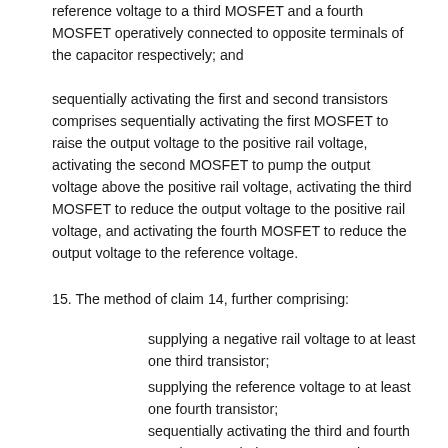reference voltage to a third MOSFET and a fourth MOSFET operatively connected to opposite terminals of the capacitor respectively; and
sequentially activating the first and second transistors comprises sequentially activating the first MOSFET to raise the output voltage to the positive rail voltage, activating the second MOSFET to pump the output voltage above the positive rail voltage, activating the third MOSFET to reduce the output voltage to the positive rail voltage, and activating the fourth MOSFET to reduce the output voltage to the reference voltage.
15. The method of claim 14, further comprising:
supplying a negative rail voltage to at least one third transistor;
supplying the reference voltage to at least one fourth transistor;
sequentially activating the third and fourth transistors such that an output voltage more negative than the negative rail voltage is supplied to the transducers